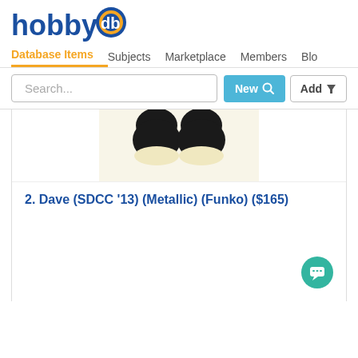hobbydb
Database Items  Subjects  Marketplace  Members  Blo
Search...
New  Add
[Figure (photo): Partial image of a dark figurine, cropped at top, showing two rounded black protrusions against a light/cream background]
2. Dave (SDCC ’13) (Metallic) (Funko) ($165)